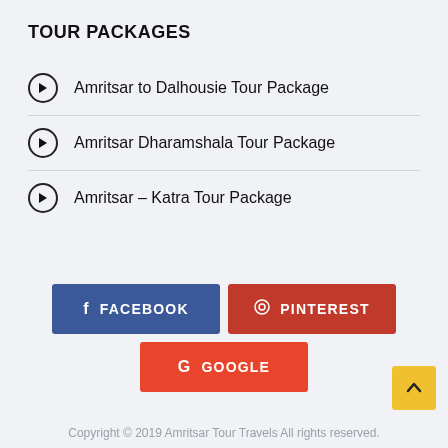TOUR PACKAGES
Amritsar to Dalhousie Tour Package
Amritsar Dharamshala Tour Package
Amritsar – Katra Tour Package
[Figure (other): Social share buttons: Facebook, Pinterest, Google]
Copyright © 2019 Amritsar Tour Travels All rights reserved.